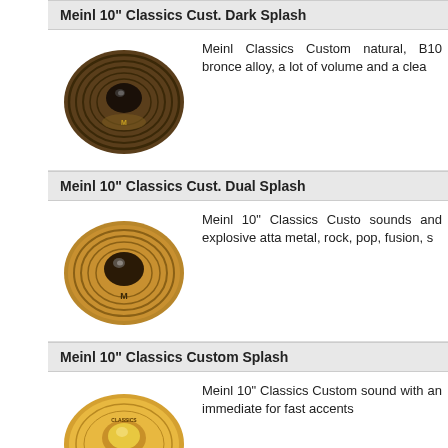Meinl 10" Classics Cust. Dark Splash
[Figure (photo): Meinl 10" Classics Custom Dark Splash cymbal, dark finish with concentric ring pattern]
Meinl Classics Custom natural, B10 bronce alloy, a lot of volume and a clea
Meinl 10" Classics Cust. Dual Splash
[Figure (photo): Meinl 10" Classics Custom Dual Splash cymbal, brilliant finish]
Meinl 10" Classics Custo sounds and explosive atta metal, rock, pop, fusion, s
Meinl 10" Classics Custom Splash
[Figure (photo): Meinl 10" Classics Custom Splash cymbal, bright brilliant finish with CLASSICS label]
Meinl 10” Classics Custom sound with an immediate for fast accents
Meinl 10" Classics Extreme Splash
[Figure (photo): Meinl 10" Classics Extreme Splash cymbal, brilliant finish with classics label]
Meinl Classics Custom Surface, B10 Bronze Al slightly dark undertone. Sl